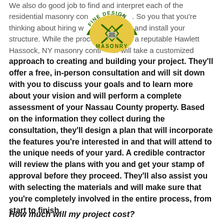We also do good job to find and interpret each of the residential masonry contractor. So you that you're thinking about hiring will need to design and install your structure. While the process will vary, a reputable Hawlett Hassock, NY masonry contractor will take a customized approach to creating and building your project. They'll offer a free, in-person consultation and will sit down with you to discuss your goals and to learn more about your vision and will perform a complete assessment of your Nassau County property. Based on the information they collect during the consultation, they'll design a plan that will incorporate the features you're interested in and that will attend to the unique needs of your yard. A credible contractor will review the plans with you and get your stamp of approval before they proceed. They'll also assist you with selecting the materials and will make sure that you're completely involved in the entire process, from start to finish.
[Figure (logo): Fine Design Masonry circular logo with green arch text and decorative design]
How much will my project cost?